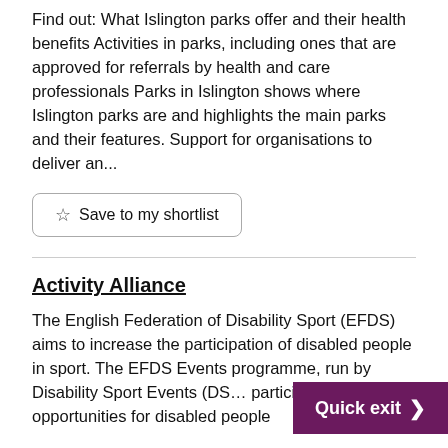Find out: What Islington parks offer and their health benefits Activities in parks, including ones that are approved for referrals by health and care professionals Parks in Islington shows where Islington parks are and highlights the main parks and their features. Support for organisations to deliver an...
Save to my shortlist
Activity Alliance
The English Federation of Disability Sport (EFDS) aims to increase the participation of disabled people in sport. The EFDS Events programme, run by Disability Sport Events (DS... participation opportunities for disabled people